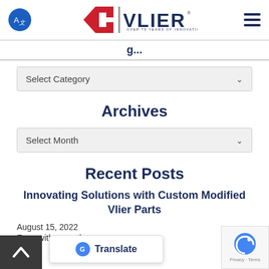Vlier - Over 75 Years of Innovation
Select Category
Archives
Select Month
Recent Posts
Innovating Solutions with Custom Modified Vlier Parts
August 15, 2022
Even with more th... our